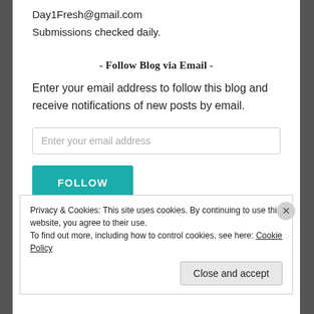Day1Fresh@gmail.com
Submissions checked daily.
- Follow Blog via Email -
Enter your email address to follow this blog and receive notifications of new posts by email.
Enter your email address
FOLLOW
Privacy & Cookies: This site uses cookies. By continuing to use this website, you agree to their use.
To find out more, including how to control cookies, see here: Cookie Policy
Close and accept